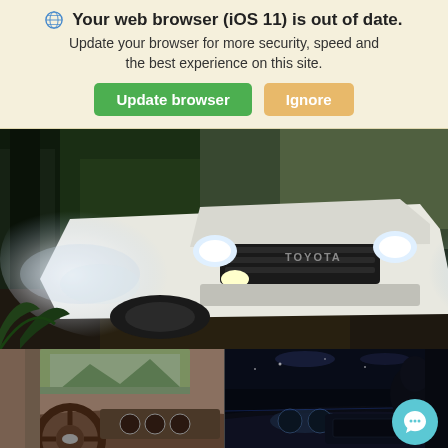🌐 Your web browser (iOS 11) is out of date. Update your browser for more security, speed and the best experience on this site.
Update browser | Ignore
[Figure (photo): White Toyota SUV/truck driving through a dark forest with headlights on and mist/water spray]
[Figure (photo): Interior view of a vehicle showing steering wheel and dashboard from driver perspective]
[Figure (photo): Dark interior view of vehicle dashboard at night]
Search | Share | Contact